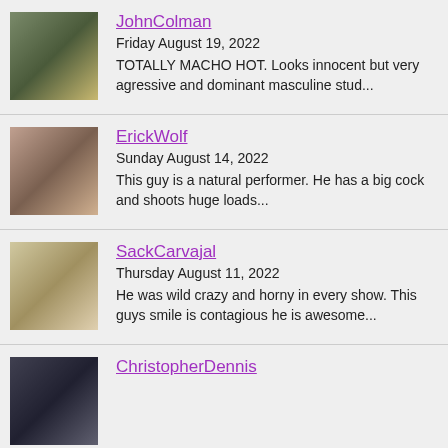JohnColman
Friday August 19, 2022
TOTALLY MACHO HOT. Looks innocent but very agressive and dominant masculine stud...
ErickWolf
Sunday August 14, 2022
This guy is a natural performer. He has a big cock and shoots huge loads...
SackCarvajal
Thursday August 11, 2022
He was wild crazy and horny in every show. This guys smile is contagious he is awesome...
ChristopherDennis